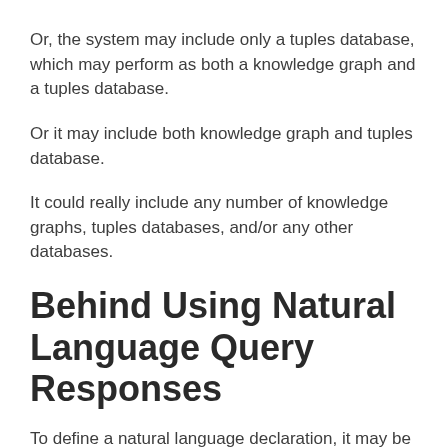Or, the system may include only a tuples database, which may perform as both a knowledge graph and a tuples database.
Or it may include both knowledge graph and tuples database.
It could really include any number of knowledge graphs, tuples databases, and/or any other databases.
Behind Using Natural Language Query Responses
To define a natural language declaration, it may be a sentence, quote, phrase, question, etc., written or expressed in some form by a